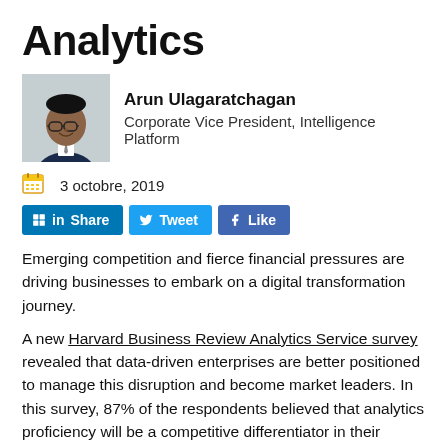Analytics
[Figure (photo): Headshot photo of Arun Ulagaratchagan]
Arun Ulagaratchagan
Corporate Vice President, Intelligence Platform
3 octobre, 2019
in Share  Tweet  f Like
Emerging competition and fierce financial pressures are driving businesses to embark on a digital transformation journey.
A new Harvard Business Review Analytics Service survey revealed that data-driven enterprises are better positioned to manage this disruption and become market leaders. In this survey, 87% of the respondents believed that analytics proficiency will be a competitive differentiator in their industry over the next two years.
Power BI and Azure Analytics help businesses build a data